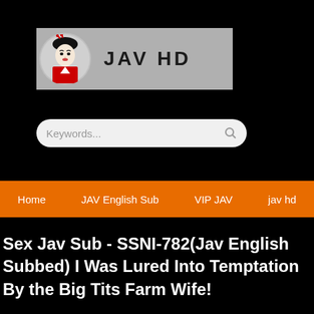[Figure (logo): JAV HD website header banner with geisha logo image on grey background and site title text 'JAV HD']
[Figure (screenshot): Search bar with placeholder text 'Keywords...' and magnifying glass icon on light grey rounded rectangle]
Home   JAV English Sub   VIP JAV   jav hd
Sex Jav Sub - SSNI-782(Jav English Subbed) I Was Lured Into Temptation By the Big Tits Farm Wife!